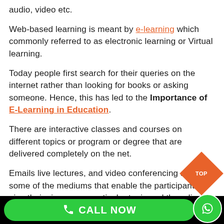audio, video etc.
Web-based learning is meant by e-learning which commonly referred to as electronic learning or Virtual learning.
Today people first search for their queries on the internet rather than looking for books or asking someone. Hence, this has led to the Importance of E-Learning in Education.
There are interactive classes and courses on different topics or program or degree that are delivered completely on the net.
Emails live lectures, and video conferencing are some of the mediums that enable the participants to give their views on a particular topic and then discuss them